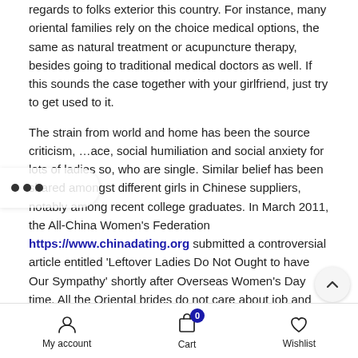regards to folks exterior this country. For instance, many oriental families rely on the choice medical options, the same as natural treatment or acupuncture therapy, besides going to traditional medical doctors as well. If this sounds the case together with your girlfriend, just try to get used to it.
The strain from world and home has been the source criticism, …ace, social humiliation and social anxiety for lots of ladies so, who are single. Similar belief has been shared amongst different girls in Chinese suppliers, notably among recent college graduates. In March 2011, the All-China Women's Federation https://www.chinadating.org submitted a controversial article entitled 'Leftover Ladies Do Not Ought to have Our Sympathy' shortly after Overseas Women's Day time. All the Oriental brides do not care about job and only want a family". All the women are different, and all of them want/love/hate various issues. You'll damage your prospects to attract her when you use these kinds of stereotypes, that is the way it works. Eastern Hip hop honeys is a
My account  Cart  Wishlist